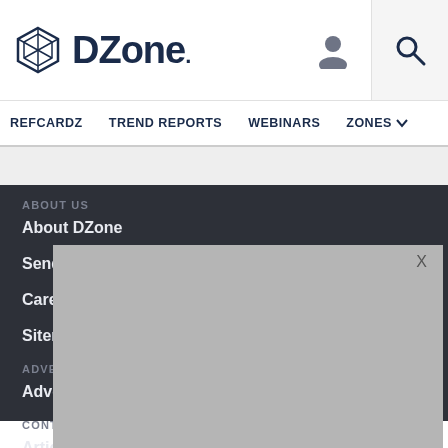DZone.
REFCARDZ   TREND REPORTS   WEBINARS   ZONES
ABOUT US
About DZone
Send feedback
Careers
Sitemap
ADVERTISE
Advertise with DZone
CONTRIBUTE ON DZONE
Article Submission Guidelines